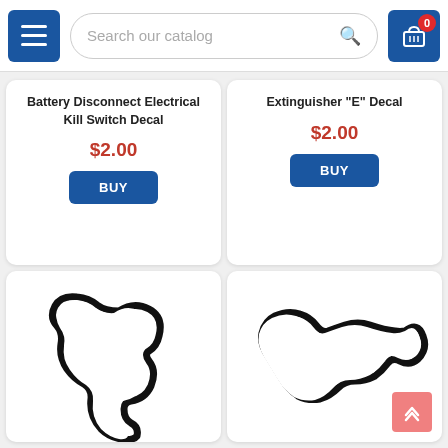Search our catalog | Cart (0)
Battery Disconnect Electrical Kill Switch Decal
$2.00
BUY
Extinguisher "E" Decal
$2.00
BUY
[Figure (illustration): AMP Kart Track Decal — outline illustration of a kart racing track layout]
AMP Kart Track Decal
[Figure (illustration): AMP Track Decal — outline illustration of a racing track layout]
AMP Track Decal